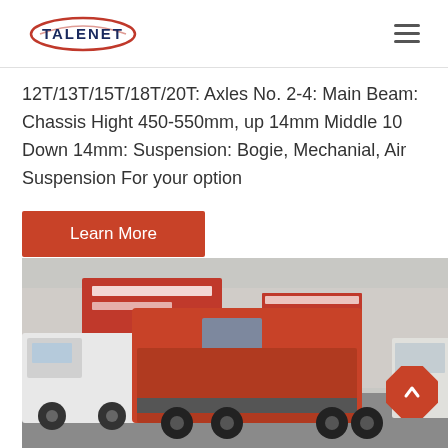TALENET
12T/13T/15T/18T/20T: Axles No. 2-4: Main Beam: Chassis Hight 450-550mm, up 14mm Middle 10 Down 14mm: Suspension: Bogie, Mechanial, Air Suspension For your option
Learn More
[Figure (photo): Red and white heavy-duty tractor trucks parked in a Chinese commercial truck lot, with Chinese signage visible in the background.]